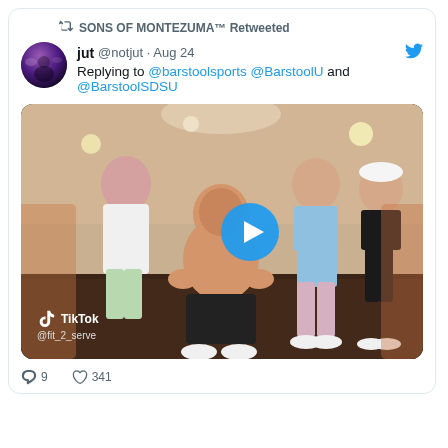SONS OF MONTEZUMA™ Retweeted
jut @notjut · Aug 24
Replying to @barstoolsports @BarstoolU and @BarstoolSDSU
[Figure (screenshot): TikTok video thumbnail showing a shirtless man dancing in front of a group of women in athletic wear, with a blue circular play button overlay. TikTok watermark shows @fit_2_serve.]
reply and like action icons